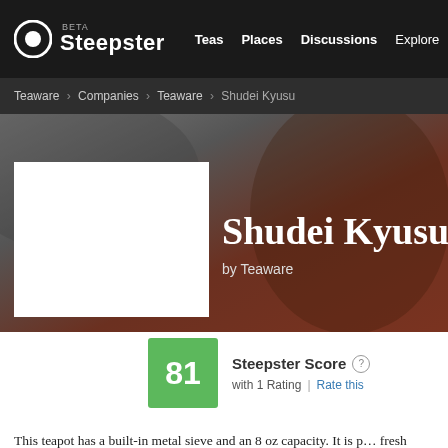Steepster BETA — Teas | Places | Discussions | Explore
Teaware › Companies › Teaware › Shudei Kyusu
[Figure (screenshot): Hero banner with blurred brown/grey background, white product image placeholder on left, and product title 'Shudei Kyusu' with 'by Teaware' subtitle on right]
Shudei Kyusu
by Teaware
81  Steepster Score  with 1 Rating | Rate this
This teapot has a built-in metal sieve and an 8 oz capacity. It is p… fresh Shincha or casual morning or afternoon tea as well. Its re… will add an additional touch of Japan to your teatime. Size: 8oz